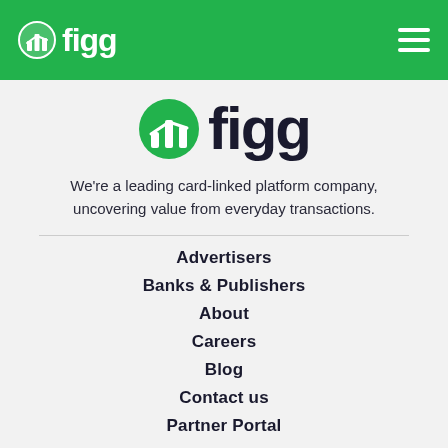figg [logo in header navigation bar]
[Figure (logo): figg logo with green circular chart icon and bold black 'figg' wordmark, large centered display]
We're a leading card-linked platform company, uncovering value from everyday transactions.
Advertisers
Banks & Publishers
About
Careers
Blog
Contact us
Partner Portal